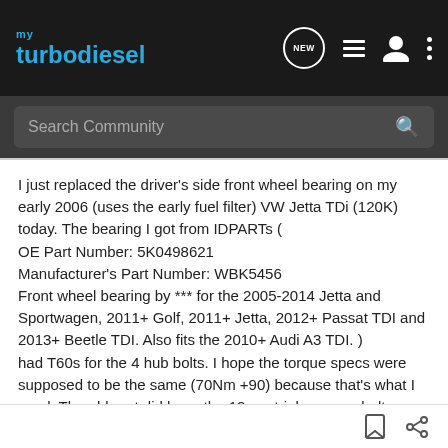my turbodiesel — navigation bar with NEW, list, user, and menu icons
Search Community
I just replaced the driver's side front wheel bearing on my early 2006 (uses the early fuel filter) VW Jetta TDi (120K) today. The bearing I got from IDPARTs (
OE Part Number: 5K0498621
Manufacturer's Part Number: WBK5456
Front wheel bearing by *** for the 2005-2014 Jetta and Sportwagen, 2011+ Golf, 2011+ Jetta, 2012+ Passat TDI and 2013+ Beetle TDI. Also fits the 2010+ Audi A3 TDI. )
had T60s for the 4 hub bolts. I hope the torque specs were supposed to be the same (70Nm +90) because that's what I used. The old part did have the 12mm triple square bolts.